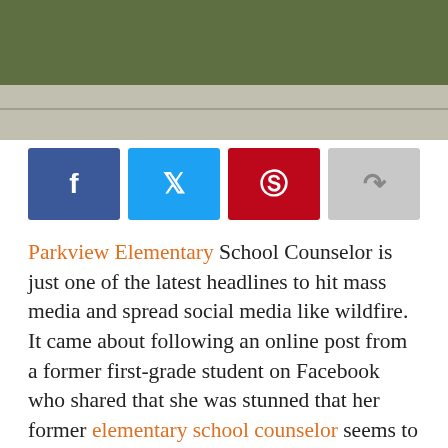[Figure (photo): Outdoor photo of Parkview Elementary school grounds showing grass and pavement/driveway area]
[Figure (infographic): Social media sharing buttons: Facebook (blue), Twitter (light blue), Pinterest (red), Share (gray)]
Parkview Elementary School Counselor is just one of the latest headlines to hit mass media and spread social media like wildfire. It came about following an online post from a former first-grade student on Facebook who shared that she was stunned that her former elementary school counselor seems to be in “full blown denial” of a deep seated addiction to cocaine, according to Toronto’s CP24 News. According to the former student (whose identity has been withheld by way of publication)